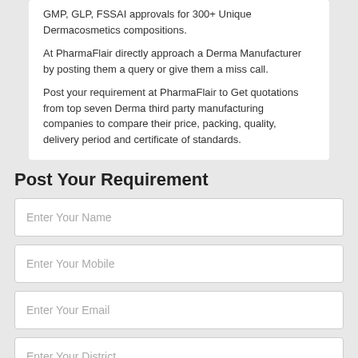GMP, GLP, FSSAI approvals for 300+ Unique Dermacosmetics compositions.
At PharmaFlair directly approach a Derma Manufacturer by posting them a query or give them a miss call.
Post your requirement at PharmaFlair to Get quotations from top seven Derma third party manufacturing companies to compare their price, packing, quality, delivery period and certificate of standards.
Post Your Requirement
Enter Your Name
Enter Your Mobile
Enter Your Email
Enter Your District